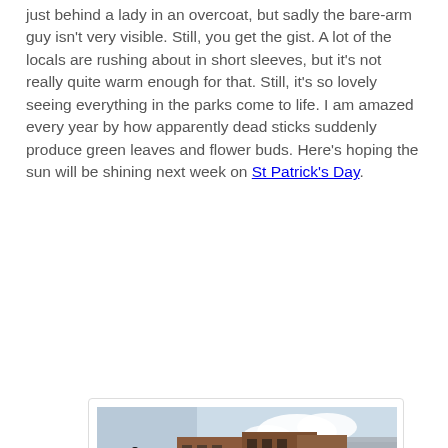just behind a lady in an overcoat, but sadly the bare-arm guy isn't very visible. Still, you get the gist. A lot of the locals are rushing about in short sleeves, but it's not really quite warm enough for that. Still, it's so lovely seeing everything in the parks come to life. I am amazed every year by how apparently dead sticks suddenly produce green leaves and flower buds. Here's hoping the sun will be shining next week on St Patrick's Day.
[Figure (photo): Street scene showing a row of multi-storey brick buildings with shops at ground level, a black lamp post in the foreground, bicycles parked on the pavement, and cars on the road. The sky is partly cloudy.]